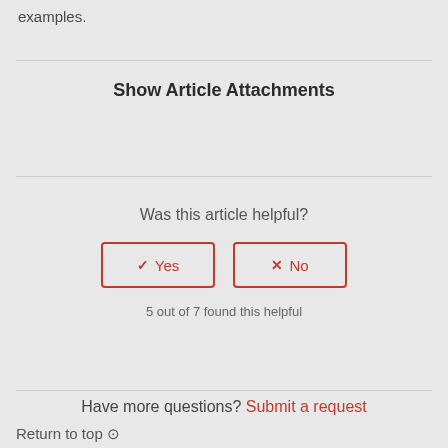examples.
Show Article Attachments
Was this article helpful?
5 out of 7 found this helpful
Have more questions? Submit a request
Return to top